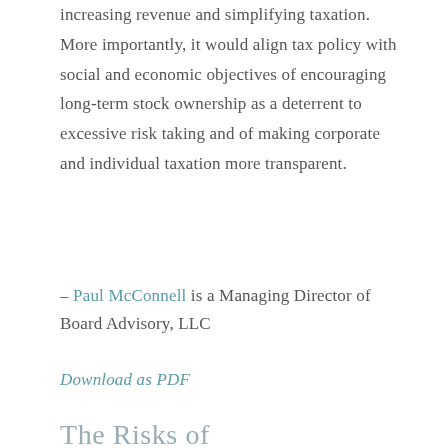increasing revenue and simplifying taxation.  More importantly, it would align tax policy with social and economic objectives of encouraging long-term stock ownership as a deterrent to excessive risk taking and of making corporate and individual taxation more transparent.
– Paul McConnell is a Managing Director of Board Advisory, LLC
Download as PDF
The Risks of